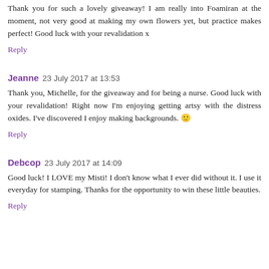Thank you for such a lovely giveaway! I am really into Foamiran at the moment, not very good at making my own flowers yet, but practice makes perfect! Good luck with your revalidation x
Reply
Jeanne 23 July 2017 at 13:53
Thank you, Michelle, for the giveaway and for being a nurse. Good luck with your revalidation! Right now I'm enjoying getting artsy with the distress oxides. I've discovered I enjoy making backgrounds. 🙂
Reply
Debcop 23 July 2017 at 14:09
Good luck! I LOVE my Misti! I don't know what I ever did without it. I use it everyday for stamping. Thanks for the opportunity to win these little beauties.
Reply